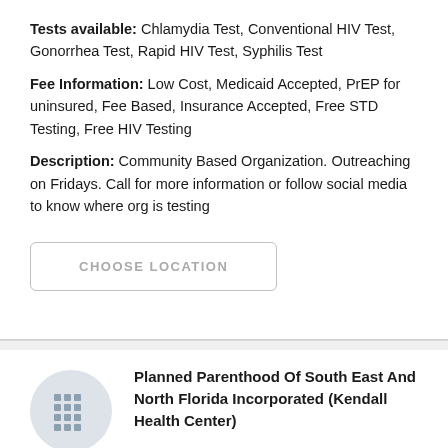Tests available: Chlamydia Test, Conventional HIV Test, Gonorrhea Test, Rapid HIV Test, Syphilis Test
Fee Information: Low Cost, Medicaid Accepted, PrEP for uninsured, Fee Based, Insurance Accepted, Free STD Testing, Free HIV Testing
Description: Community Based Organization. Outreaching on Fridays. Call for more information or follow social media to know where org is testing
CHOOSE LOCATION
[Figure (logo): Building/organization icon — grid of small squares representing a building, inside a light gray circle]
Planned Parenthood Of South East And North Florida Incorporated (Kendall Health Center)